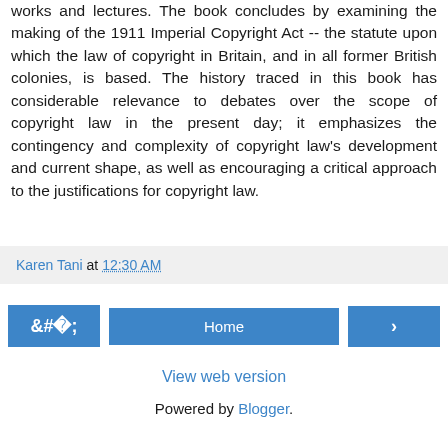works and lectures. The book concludes by examining the making of the 1911 Imperial Copyright Act -- the statute upon which the law of copyright in Britain, and in all former British colonies, is based. The history traced in this book has considerable relevance to debates over the scope of copyright law in the present day; it emphasizes the contingency and complexity of copyright law's development and current shape, as well as encouraging a critical approach to the justifications for copyright law.
Karen Tani at 12:30 AM
[Figure (other): Navigation buttons: left arrow button, Home button (center), right arrow button]
View web version
Powered by Blogger.